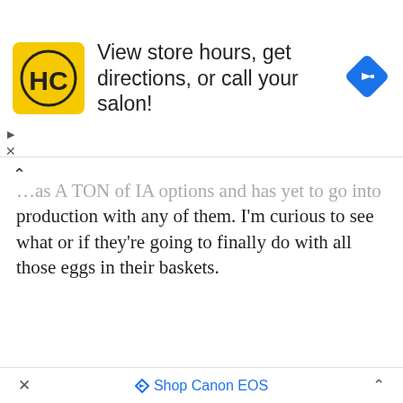[Figure (other): Advertisement banner: Hair Club (HC) logo on yellow background, text 'View store hours, get directions, or call your salon!', blue diamond navigation icon on right]
...as A TON of IA options and has yet to go into production with any of them. I'm curious to see what or if they're going to finally do with all those eggs in their baskets.
[Figure (photo): Black and white photo with selective color red accents showing birds or leaves in motion against a bright sky]
× | Shop Canon EOS | ^